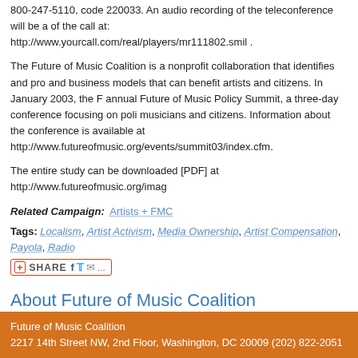800-247-5110, code 220033. An audio recording of the teleconference will be available after completion of the call at: http://www.yourcall.com/real/players/mr111802.smil .
The Future of Music Coalition is a nonprofit collaboration that identifies and promotes new technologies and business models that can benefit artists and citizens. In January 2003, the FMC hosted its second annual Future of Music Policy Summit, a three-day conference focusing on policy issues that affect musicians and citizens. Information about the conference is available at http://www.futureofmusic.org/events/summit03/index.cfm.
The entire study can be downloaded [PDF] at http://www.futureofmusic.org/imag...
Related Campaign: Artists + FMC
Tags: Localism, Artist Activism, Media Ownership, Artist Compensation, Payola, Radio...
[Figure (other): Share button bar with Facebook, Twitter, email icons]
About Future of Music Coalition
Future of Music Coalition is a national non-profit education, research and advocacy organization that works to ensure a bright future for creators and listeners. FMC works towards this goal through close work with its primary constituency — musicians — and in collaboration with other creator/policy...
Future of Music Coalition
2217 14th Street NW, 2nd Floor, Washington, DC 20009 (202) 822-2051